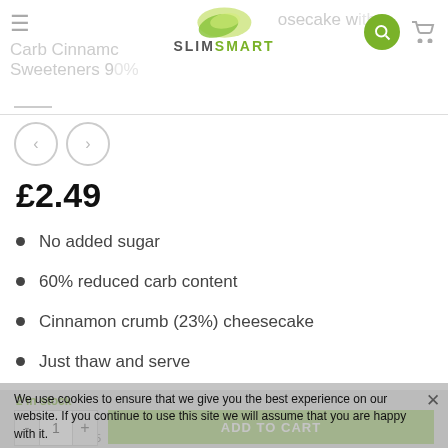Carb Cinnamon Cheesecake with Sweeteners 90% — SLIMSMART
£2.49
No added sugar
60% reduced carb content
Cinnamon crumb (23%) cheesecake
Just thaw and serve
2 in stock
We use cookies to ensure that we give you the best experience on our website. If you continue to use this site we will assume that you are happy with it.
OK
READ OUR PRIVACY AND GDPR POLICY
SKU: 81004-115